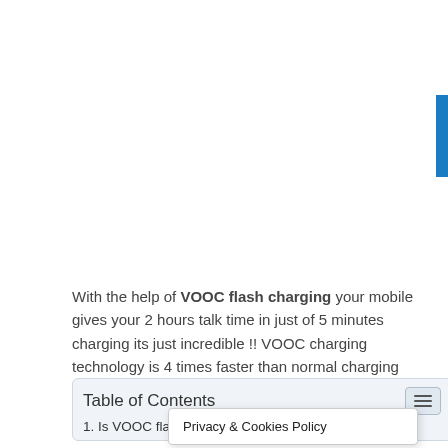With the help of VOOC flash charging your mobile gives your 2 hours talk time in just of 5 minutes charging its just incredible !! VOOC charging technology is 4 times faster than normal charging technology we used nowadays.
Table of Contents
1. Is VOOC flash charg...
Privacy & Cookies Policy